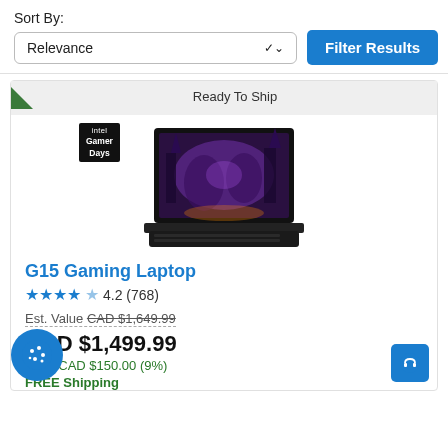Sort By:
Relevance
Filter Results
Ready To Ship
[Figure (photo): Intel Gamer Days badge and Dell G15 Gaming Laptop product image showing open laptop with purple gaming wallpaper]
G15 Gaming Laptop
4.2 (768)
Est. Value CAD $1,649.99
CAD $1,499.99
Save CAD $150.00 (9%)
FREE Shipping